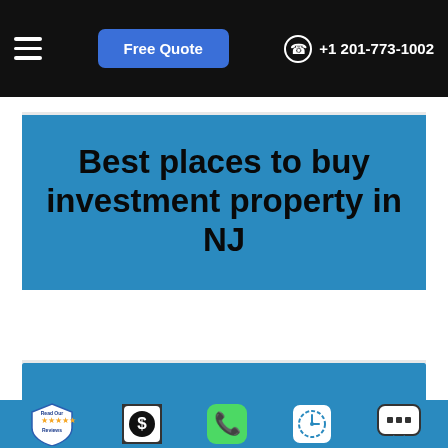Free Quote  +1 201-773-1002
Best places to buy investment property in NJ
[Figure (screenshot): Blue image/map area below the title card]
[Figure (infographic): Bottom toolbar with icons: Read Our Reviews badge, dollar sign icon, phone icon, clock icon, chat icon]